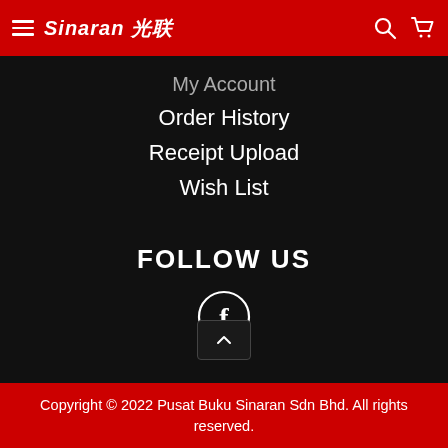Sinaran 光联 — navigation header with hamburger menu, logo, search and cart icons
My Account
Order History
Receipt Upload
Wish List
FOLLOW US
[Figure (logo): Facebook icon in a white circle outline]
Copyright © 2022 Pusat Buku Sinaran Sdn Bhd. All rights reserved.